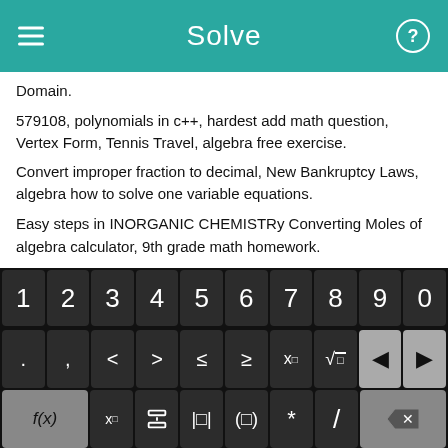Solve
Domain.
579108, polynomials in c++, hardest add math question, Vertex Form, Tennis Travel, algebra free exercise.
Convert improper fraction to decimal, New Bankruptcy Laws, algebra how to solve one variable equations.
Easy steps in INORGANIC CHEMISTRy Converting Moles of Substances to Grams, trigonometry in daily life, download algebra calculator, 9th grade math homework.
[Figure (screenshot): Mobile math solver keyboard with digits 0-9, symbol keys (<, >, ≤, ≥, x^□, √□, backspace, forward), function keys (f(x), x_□, fraction, absolute value, grouping, *, /, delete), and bottom row (abc, rotate, x, y, =, +, -, Solve! button in green)]